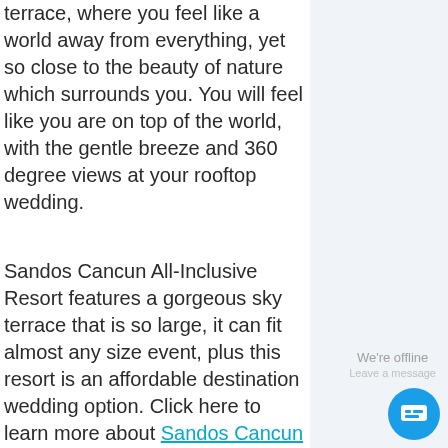terrace, where you feel like a world away from everything, yet so close to the beauty of nature which surrounds you. You will feel like you are on top of the world, with the gentle breeze and 360 degree views at your rooftop wedding.
Sandos Cancun All-Inclusive Resort features a gorgeous sky terrace that is so large, it can fit almost any size event, plus this resort is an affordable destination wedding option. Click here to learn more about Sandos Cancun All-Inclusive Resort.
[Figure (photo): Broken image placeholder for sandos cancun rooftop wedding]